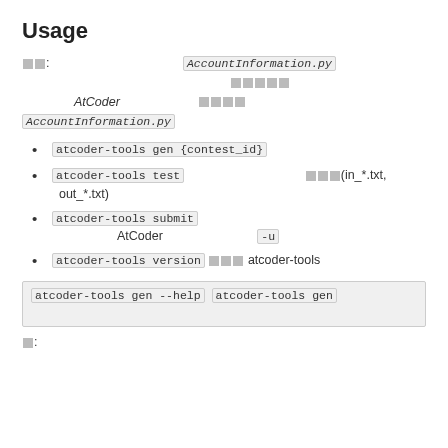Usage
注意: 初回実行時はユーザ名とパスワードを AccountInformation.py に入力する必要があります。入力した情報はユーザ名 パスワード は暗号化されずに AtCoder にログインするために使われます。ユーザ名 パスワード が変わった場合は AccountInformation.py を更新してください。
atcoder-tools gen {contest_id} コンテストのファイルを生成
atcoder-tools test サンプルケースをもとに手元でテスト (in_*.txt, out_*.txt) を利用してテストを行う
atcoder-tools submit 問題の解答をAtCoderに提出します。-u オプションを使うと未提出の問題を提出できます
atcoder-tools version 現在 atcoder-tools のバージョン情報
atcoder-tools gen --help atcoder-tools gen の詳細なオプションを確認できます
使: